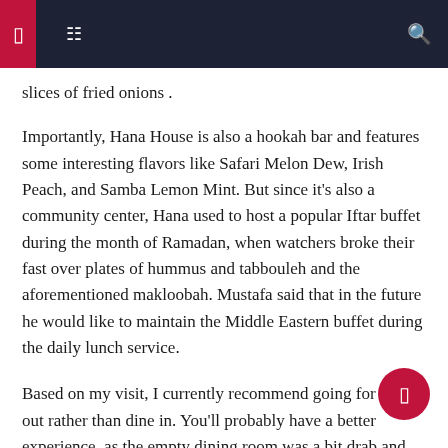Navigation bar with menu and search icons
slices of fried onions .
Importantly, Hana House is also a hookah bar and features some interesting flavors like Safari Melon Dew, Irish Peach, and Samba Lemon Mint. But since it's also a community center, Hana used to host a popular Iftar buffet during the month of Ramadan, when watchers broke their fast over plates of hummus and tabbouleh and the aforementioned makloobah. Mustafa said that in the future he would like to maintain the Middle Eastern buffet during the daily lunch service.
Based on my visit, I currently recommend going for take out rather than dine in. You'll probably have a better experience, as the empty dining room was a bit drab and the servers weren't wearing masks. My visit this week turned into an impromptu picnic in a parking lot, with take-out boxes